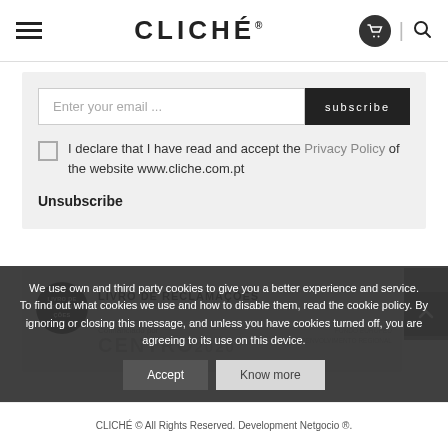CLICHÉ
Enter your email ...
subscribe
I declare that I have read and accept the Privacy Policy of the website www.cliche.com.pt
Unsubscribe
[Figure (logo): LIVRO DE RECLAMAÇÕES badge circle logo]
LIVRO DE RECLAMAÇÕES
Cofinanciado por
CENTRO 2020
We use own and third party cookies to give you a better experience and service. To find out what cookies we use and how to disable them, read the cookie policy. By ignoring or closing this message, and unless you have cookies turned off, you are agreeing to its use on this device.
Accept
Know more
CLICHÉ © All Rights Reserved. Development Netgocio ®.